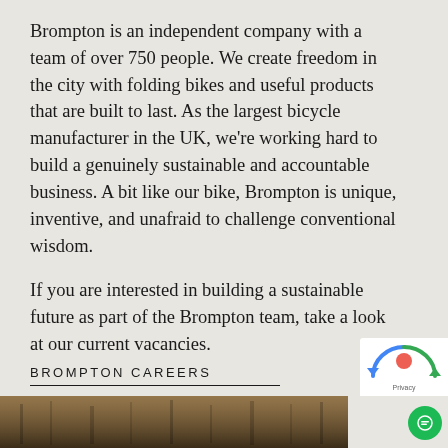Brompton is an independent company with a team of over 750 people. We create freedom in the city with folding bikes and useful products that are built to last. As the largest bicycle manufacturer in the UK, we're working hard to build a genuinely sustainable and accountable business. A bit like our bike, Brompton is unique, inventive, and unafraid to challenge conventional wisdom.
If you are interested in building a sustainable future as part of the Brompton team, take a look at our current vacancies.
BROMPTON CAREERS
[Figure (photo): Bottom portion of page showing a dark wooden/mechanical surface, partially visible]